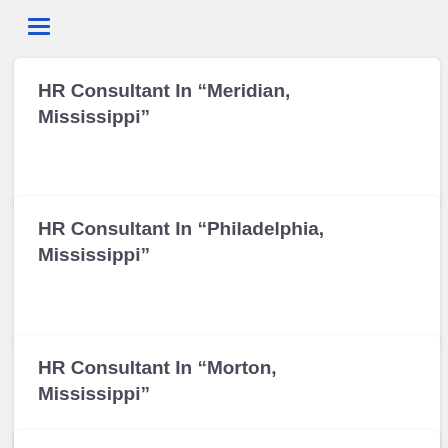[Figure (other): Hamburger menu icon with three horizontal blue lines]
HR Consultant In “Meridian, Mississippi”
HR Consultant In “Philadelphia, Mississippi”
HR Consultant In “Morton, Mississippi”